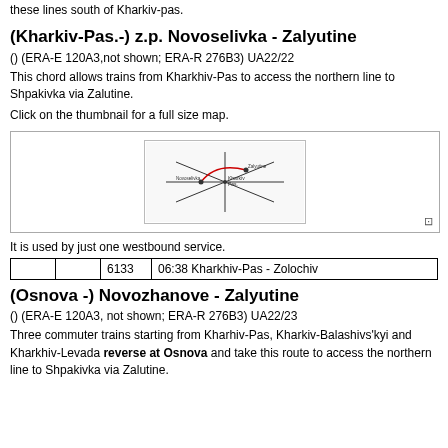these lines south of Kharkiv-pas.
(Kharkiv-Pas.-) z.p. Novoselivka - Zalyutine
() (ERA-E 120A3,not shown; ERA-R 276B3) UA22/22
This chord allows trains from Kharkhiv-Pas to access the northern line to Shpakivka via Zalutine.
Click on the thumbnail for a full size map.
[Figure (map): Thumbnail map showing rail lines near Kharkiv, with a chord line highlighted in red connecting Novoselivka to Zalyutine.]
It is used by just one westbound service.
|  |  | 6133 | 06:38 Kharkhiv-Pas - Zolochiv |
| --- | --- | --- | --- |
(Osnova -) Novozhanove - Zalyutine
() (ERA-E 120A3, not shown; ERA-R 276B3) UA22/23
Three commuter trains starting from Kharhiv-Pas, Kharkiv-Balashivs'kyi and Kharkhiv-Levada reverse at Osnova and take this route to access the northern line to Shpakivka via Zalutine.